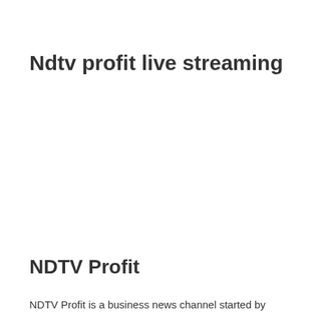Ndtv profit live streaming
NDTV Profit
NDTV Profit is a business news channel started by New